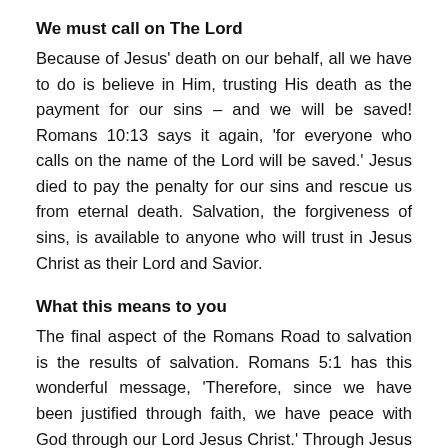We must call on The Lord
Because of Jesus' death on our behalf, all we have to do is believe in Him, trusting His death as the payment for our sins – and we will be saved! Romans 10:13 says it again, 'for everyone who calls on the name of the Lord will be saved.' Jesus died to pay the penalty for our sins and rescue us from eternal death. Salvation, the forgiveness of sins, is available to anyone who will trust in Jesus Christ as their Lord and Savior.
What this means to you
The final aspect of the Romans Road to salvation is the results of salvation. Romans 5:1 has this wonderful message, 'Therefore, since we have been justified through faith, we have peace with God through our Lord Jesus Christ.' Through Jesus Christ we can have a